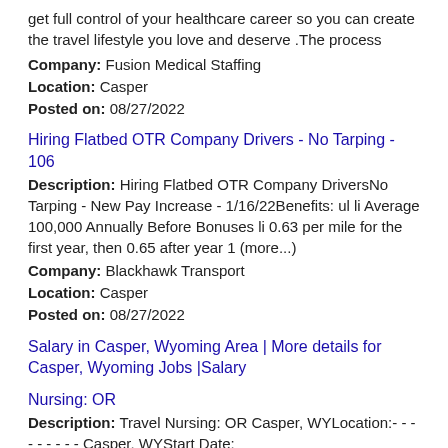get full control of your healthcare career so you can create the travel lifestyle you love and deserve .The process
Company: Fusion Medical Staffing
Location: Casper
Posted on: 08/27/2022
Hiring Flatbed OTR Company Drivers - No Tarping - 106
Description: Hiring Flatbed OTR Company DriversNo Tarping - New Pay Increase - 1/16/22Benefits: ul li Average 100,000 Annually Before Bonuses li 0.63 per mile for the first year, then 0.65 after year 1 (more...)
Company: Blackhawk Transport
Location: Casper
Posted on: 08/27/2022
Salary in Casper, Wyoming Area | More details for Casper, Wyoming Jobs |Salary
Nursing: OR
Description: Travel Nursing: OR Casper, WYLocation:- - - - - - - - - Casper, WYStart Date:
Company: Triage Staffing
Location: Casper
Posted on: 08/27/2022